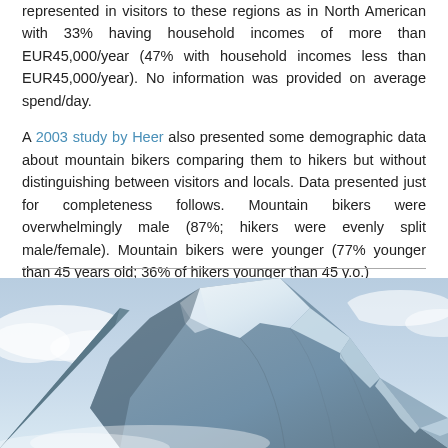represented in visitors to these regions as in North American with 33% having household incomes of more than EUR45,000/year (47% with household incomes less than EUR45,000/year). No information was provided on average spend/day.
A 2003 study by Heer also presented some demographic data about mountain bikers comparing them to hikers but without distinguishing between visitors and locals. Data presented just for completeness follows. Mountain bikers were overwhelmingly male (87%; hikers were evenly split male/female). Mountain bikers were younger (77% younger than 45 years old; 36% of hikers younger than 45 y.o.)
[Figure (photo): Snow-capped mountain peak with blue sky and clouds in the background]